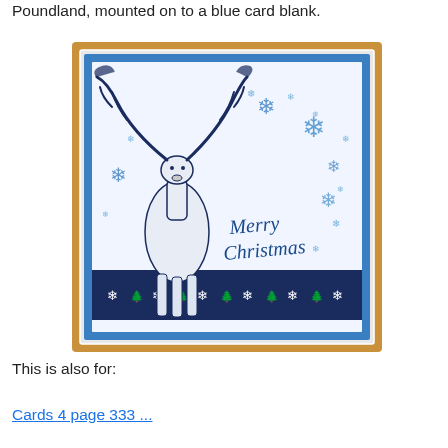Poundland, mounted on to a blue card blank.
[Figure (photo): Handmade Christmas card featuring a moose/stag illustration with snowflakes on a white background, with 'Merry Christmas' script text in blue, a navy decorative border strip at the bottom with white trees and snowflake motifs, mounted on a blue card blank, placed on a wooden surface.]
This is also for:
Cards 4 page 333 ...